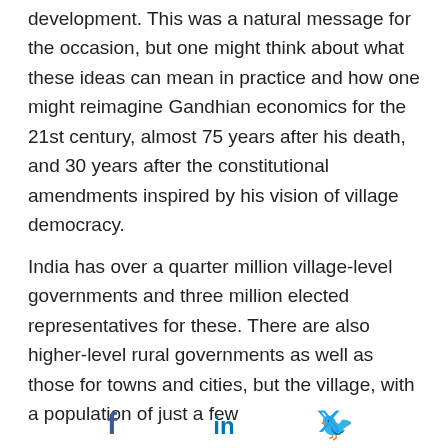development. This was a natural message for the occasion, but one might think about what these ideas can mean in practice and how one might reimagine Gandhian economics for the 21st century, almost 75 years after his death, and 30 years after the constitutional amendments inspired by his vision of village democracy.
India has over a quarter million village-level governments and three million elected representatives for these. There are also higher-level rural governments as well as those for towns and cities, but the village, with a population of just a few
[Figure (other): Social media share icons: Facebook, LinkedIn, Twitter]